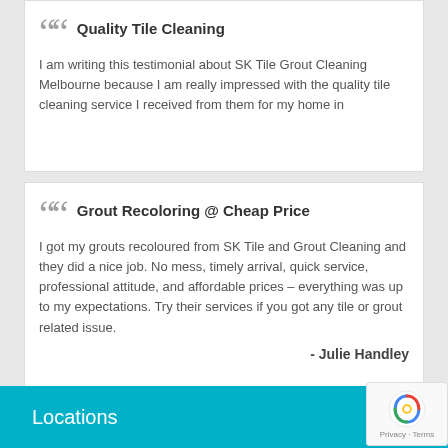Quality Tile Cleaning
I am writing this testimonial about SK Tile Grout Cleaning Melbourne because I am really impressed with the quality tile cleaning service I received from them for my home in
Grout Recoloring @ Cheap Price
I got my grouts recoloured from SK Tile and Grout Cleaning and they did a nice job. No mess, timely arrival, quick service, professional attitude, and affordable prices – everything was up to my expectations. Try their services if you got any tile or grout related issue.
- Julie Handley
Quality Tile Cleaning
I am writing this testimonial about SK Tile Grout Cleaning Melbourne because I am really impressed with the quality tile cleaning service I received from them for my home in Western Melbourne last month. The
Locations